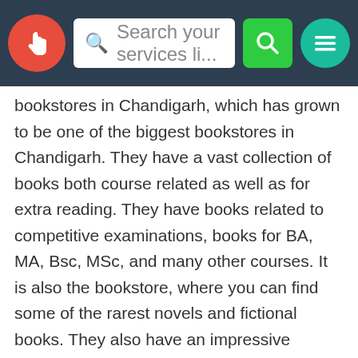[Figure (screenshot): Navigation bar with red circular logo with hand icon, search input box showing 'Search your services li...', green search button, and teal menu button with hamburger icon]
bookstores in Chandigarh, which has grown to be one of the biggest bookstores in Chandigarh. They have a vast collection of books both course related as well as for extra reading. They have books related to competitive examinations, books for BA, MA, Bsc, MSc, and many other courses. It is also the bookstore, where you can find some of the rarest novels and fictional books. They also have an impressive collection of non-fiction books like autobiographies and biographies by famous people, documentaries, self-help books and much more. Universal Book Shop has been around for a long time and has become a reliable source of books and stationery for generations of people. This makes it one of the best bookstores in chandigarh. They have a display of books in their